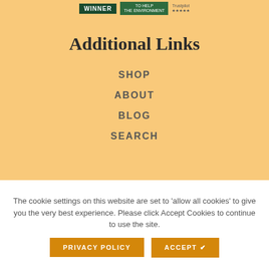[Figure (logo): Three small badge/logo images in a row: a dark green WINNER badge, a green TO HELP THE ENVIRONMENT badge, and a small Trustpilot-style logo]
Additional Links
SHOP
ABOUT
BLOG
SEARCH
The cookie settings on this website are set to 'allow all cookies' to give you the very best experience. Please click Accept Cookies to continue to use the site.
PRIVACY POLICY
ACCEPT ✔